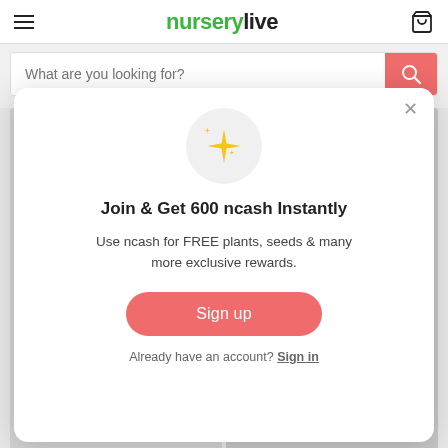nurserylive
What are you looking for?
[Figure (screenshot): NurseryLive website with a modal popup dialog offering 600 ncash reward for signing up]
Join & Get 600 ncash Instantly
Use ncash for FREE plants, seeds & many more exclusive rewards.
Sign up
Already have an account? Sign in